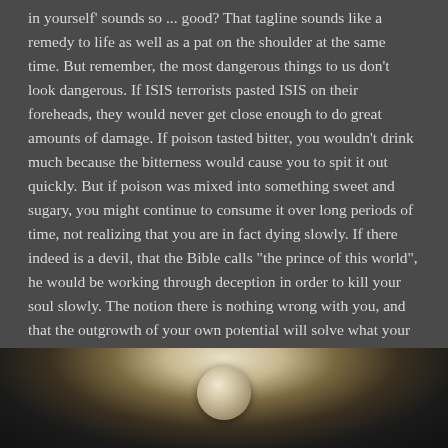in yourself' sounds so ... good? That tagline sounds like a remedy to life as well as a pat on the shoulder at the same time. But remember, the most dangerous things to us don't look dangerous. If ISIS terrorists pasted ISIS on their foreheads, they would never get close enough to do great amounts of damage. If poison tasted bitter, you wouldn't drink much because the bitterness would cause you to spit it out quickly. But if poison was mixed into something sweet and sugary, you might continue to consume it over long periods of time, not realizing that you are in fact dying slowly. If there indeed is a devil, that the Bible calls "the prince of this world", he would be working through deception in order to kill your soul slowly. The notion there is nothing wrong with you, and that the outgrowth of your own potential will solve what your soul is desperately warning you about is too seductive.
[Figure (photo): A partially visible photograph showing what appears to be a person, likely in white clothing, against a dark background. Only the upper portion of the photo is visible at the bottom of the page.]